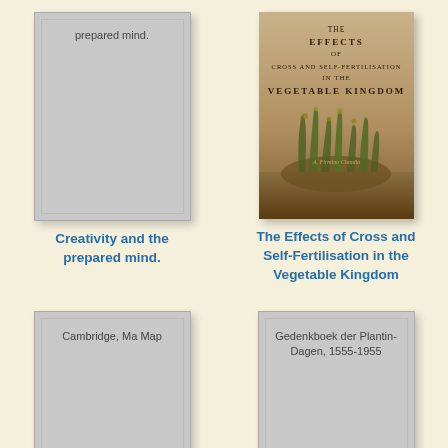[Figure (illustration): Book cover placeholder for 'Creativity and the prepared mind.' - gray rectangle with inner border and title text at top]
Creativity and the prepared mind.
[Figure (illustration): Book cover for 'The Effects of Cross and Self-Fertilisation in the Vegetable Kingdom' - tan/brown cover with botanical text and grass illustration]
The Effects of Cross and Self-Fertilisation in the Vegetable Kingdom
[Figure (illustration): Book cover placeholder for 'Cambridge, Ma Map' - gray rectangle with inner border and title text]
Cambridge, Ma Map
[Figure (illustration): Book cover placeholder for 'Gedenkboek der Plantin-Dagen, 1555-1955' - gray rectangle with inner border and title text]
Gedenkboek der Plantin-Dagen, 1555-1955